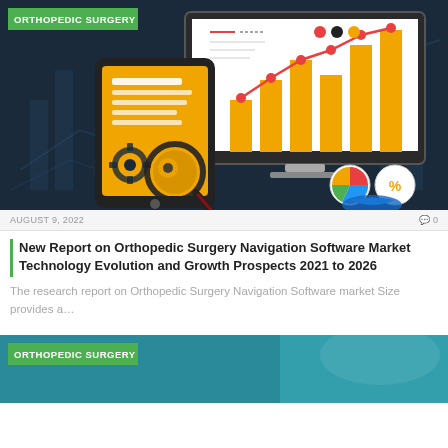[Figure (illustration): Market research illustration showing a bar chart on a monitor with rising line chart, a tablet with gears and magnifying glass, and business analysis icons]
ORTHOPEDIC SURGERY
AUGUST 9, 2022   0
New Report on Orthopedic Surgery Navigation Software Market Technology Evolution and Growth Prospects 2021 to 2026
The research report on Orthopedic Surgery Navigation Software market Size provides a…
[Figure (illustration): Partial second article card with ORTHOPEDIC SURGERY label on teal/medical background]
ORTHOPEDIC SURGERY